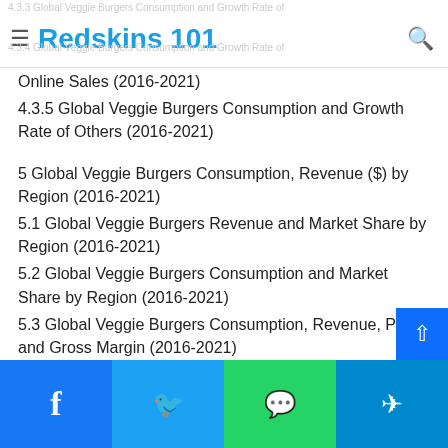≡ Redskins 101 🔍
4.3.3 Global Veggie Burgers Consumption and Growth Rate of Online Sales (2016-2021)
4.3.5 Global Veggie Burgers Consumption and Growth Rate of Others (2016-2021)
5 Global Veggie Burgers Consumption, Revenue ($) by Region (2016-2021)
5.1 Global Veggie Burgers Revenue and Market Share by Region (2016-2021)
5.2 Global Veggie Burgers Consumption and Market Share by Region (2016-2021)
5.3 Global Veggie Burgers Consumption, Revenue, Price and Gross Margin (2016-2021)
5.4 North America Veggie Burgers Consumption, Revenue,